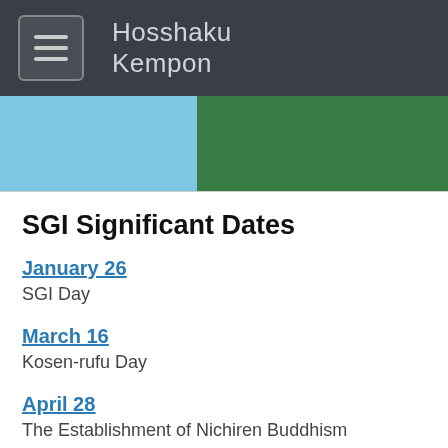Hosshaku Kempon
[Figure (photo): Partial image showing two sections: blue sky/water on the left and green foliage on the right]
SGI Significant Dates
January 26
SGI Day
March 16
Kosen-rufu Day
April 28
The Establishment of Nichiren Buddhism
May 3
Soka Gakkai Day